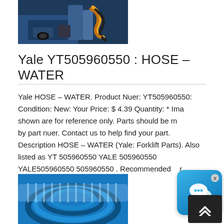[Figure (photo): Photo of industrial forklift machinery with yellow and black hydraulic hoses/components]
Yale YT505960550 : HOSE – WATER
Yale HOSE – WATER. Product Nuer: YT505960550: Condition: New: Your Price: $ 4.39 Quantity: * Images shown are for reference only. Parts should be matched by part nuer. Contact us to help find your part. Description HOSE – WATER (Yale: Forklift Parts). Also listed as YT 505960550 YALE 505960550 YALE505960550 505960550 . Recommended for you: ...
[Figure (photo): Photo of a blue reinforced water hose coiled, with clear plastic ribbed hose visible]